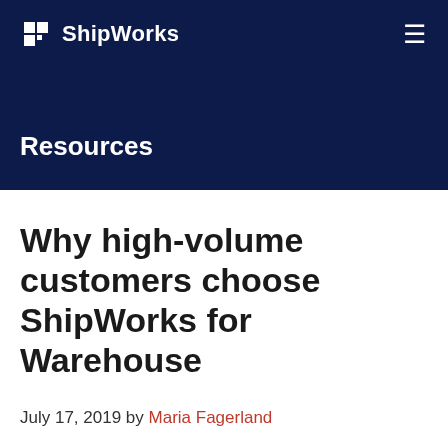ShipWorks
Resources
Why high-volume customers choose ShipWorks for Warehouse
July 17, 2019 by Maria Fagerland